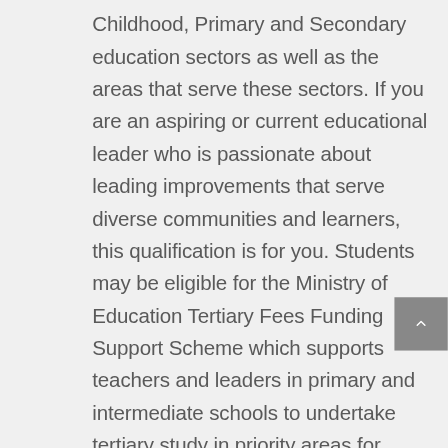Childhood, Primary and Secondary education sectors as well as the areas that serve these sectors. If you are an aspiring or current educational leader who is passionate about leading improvements that serve diverse communities and learners, this qualification is for you. Students may be eligible for the Ministry of Education Tertiary Fees Funding Support Scheme which supports teachers and leaders in primary and intermediate schools to undertake tertiary study in priority areas for teacher professional